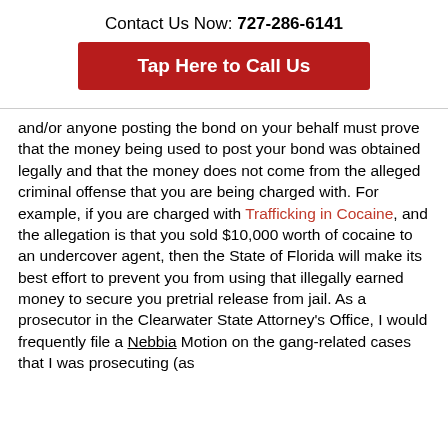Contact Us Now: 727-286-6141
Tap Here to Call Us
and/or anyone posting the bond on your behalf must prove that the money being used to post your bond was obtained legally and that the money does not come from the alleged criminal offense that you are being charged with. For example, if you are charged with Trafficking in Cocaine, and the allegation is that you sold $10,000 worth of cocaine to an undercover agent, then the State of Florida will make its best effort to prevent you from using that illegally earned money to secure you pretrial release from jail. As a prosecutor in the Clearwater State Attorney's Office, I would frequently file a Nebbia Motion on the gang-related cases that I was prosecuting (as